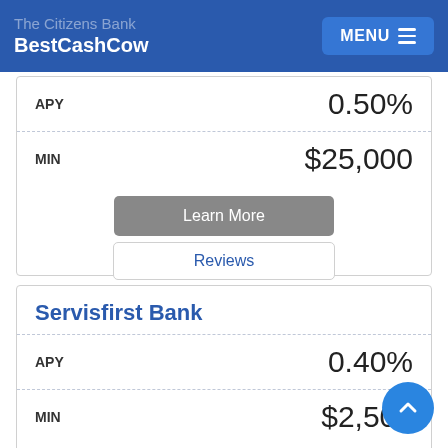The Citizens Bank | BestCashCow | MENU
| APY | 0.50% |
| --- | --- |
| MIN | $25,000 |
Learn More
Reviews
Servisfirst Bank
| APY | 0.40% |
| --- | --- |
| MIN | $2,500 |
Learn More